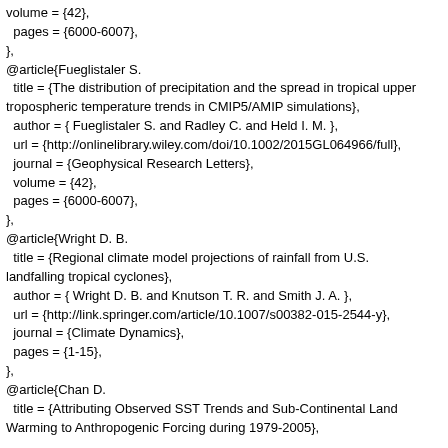volume = {42},
  pages = {6000-6007},
},
@article{Fueglistaler S.
  title = {The distribution of precipitation and the spread in tropical upper tropospheric temperature trends in CMIP5/AMIP simulations},
  author = { Fueglistaler S. and Radley C. and Held I. M. },
  url = {http://onlinelibrary.wiley.com/doi/10.1002/2015GL064966/full},
  journal = {Geophysical Research Letters},
  volume = {42},
  pages = {6000-6007},
},
@article{Wright D. B.
  title = {Regional climate model projections of rainfall from U.S. landfalling tropical cyclones},
  author = { Wright D. B. and Knutson T. R. and Smith J. A. },
  url = {http://link.springer.com/article/10.1007/s00382-015-2544-y},
  journal = {Climate Dynamics},
  pages = {1-15},
},
@article{Chan D.
  title = {Attributing Observed SST Trends and Sub-Continental Land Warming to Anthropogenic Forcing during 1979-2005},